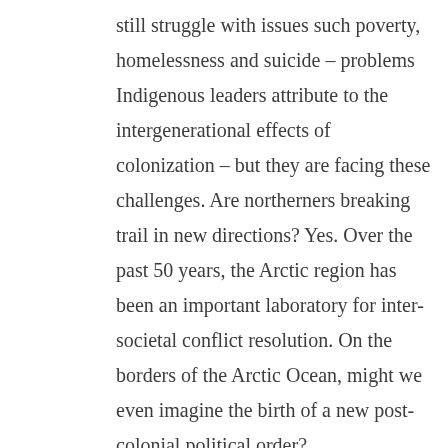still struggle with issues such poverty, homelessness and suicide – problems Indigenous leaders attribute to the intergenerational effects of colonization – but they are facing these challenges. Are northerners breaking trail in new directions? Yes. Over the past 50 years, the Arctic region has been an important laboratory for inter-societal conflict resolution. On the borders of the Arctic Ocean, might we even imagine the birth of a new post-colonial political order?
Mediterranean 2.0
Out of sight of most southern observers, beyond the gaze of global media and far from